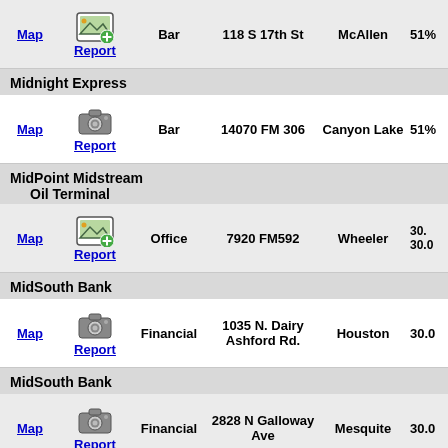| Name | Map/Report | Type | Address | City | Pct |
| --- | --- | --- | --- | --- | --- |
|  | Map / Report | Bar | 118 S 17th St | McAllen | 51% |
| Midnight Express | Map / Report | Bar | 14070 FM 306 | Canyon Lake | 51% |
| MidPoint Midstream Oil Terminal | Map / Report | Office | 7920 FM592 | Wheeler | 30. 30.0 |
| MidSouth Bank | Map / Report | Financial | 1035 N. Dairy Ashford Rd. | Houston | 30.0 |
| MidSouth Bank | Map / Report | Financial | 2828 N Galloway Ave | Mesquite | 30.0 |
| MidSouth Bank | Map / Report | Financial | 1102 E Interstate 30 | Rockwall | 30.0 |
| Midsouth |  |  |  |  |  |